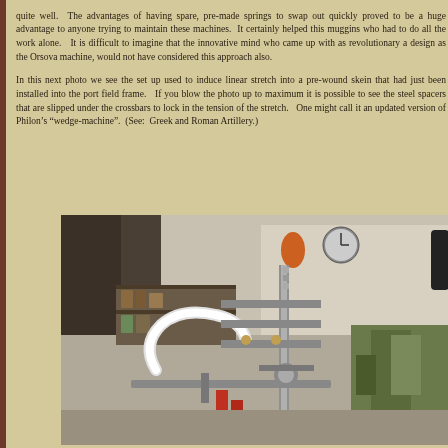quite well. The advantages of having spare, pre-made springs to swap out quickly proved to be a huge advantage to anyone trying to maintain these machines. It certainly helped this muggins who had to do all the work alone. It is difficult to imagine that the innovative mind who came up with as revolutionary a design as the Orsova machine, would not have considered this approach also.

In this next photo we see the set up used to induce linear stretch into a pre-wound skein that had just been installed into the port field frame. If you blow the photo up to maximum it is possible to see the steel spacers that are slipped under the crossbars to lock in the tension of the stretch. One might call it an updated version of Philon's "wedge-machine". (See: Greek and Roman Artillery.)
[Figure (photo): Workshop photograph showing a mechanical device with metal crossbars, springs, and frame components used for inducing linear stretch into a pre-wound skein. The background shows a workshop interior with shelves, cans, and equipment.]